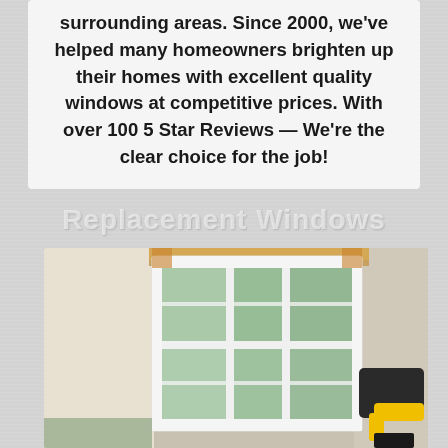surrounding areas. Since 2000, we've helped many homeowners brighten up their homes with excellent quality windows at competitive prices. With over 100 5 Star Reviews — We're the clear choice for the job!
[Figure (illustration): Watermark text reading 'Replacement Windows' in white semi-transparent bold letters on gray textured background]
[Figure (photo): A person wearing yellow and black gloves installing or removing a multi-pane white window in a residential setting, with green foliage visible through the glass panes and a wooden frame surround visible at the top.]